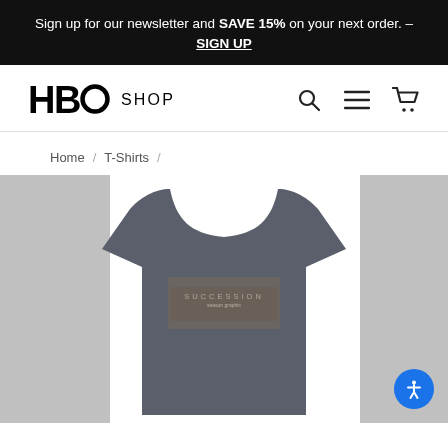Sign up for our newsletter and SAVE 15% on your next order. – SIGN UP
[Figure (logo): HBO Shop logo with navigation icons (search, hamburger menu, cart)]
Home / T-Shirts /
[Figure (photo): Dark grey Succession TV show graphic t-shirt displayed on a product page with left and right arrow navigation panels]